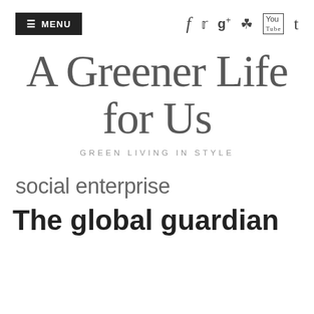≡ MENU   f  𝑡  g+  📷  You  t
A Greener Life for Us
GREEN LIVING IN STYLE
social enterprise
The global guardian